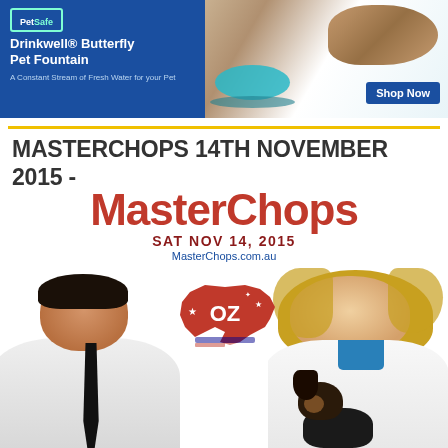[Figure (photo): PetSafe Drinkwell Butterfly Pet Fountain advertisement banner with a dog drinking from a blue fountain bowl. Blue background on left side with product name and 'Shop Now' button on right.]
MASTERCHOPS 14TH NOVEMBER 2015 - MELBOURNE
[Figure (photo): MasterChops event poster for SAT NOV 14, 2015 in Melbourne, Australia. Large red MasterChops logo text, date in dark red, MasterChops.com.au website, Australian map OZ logo, and two people (a man in white shirt with tie and a woman in white lab coat) with a small dachshund dog.]